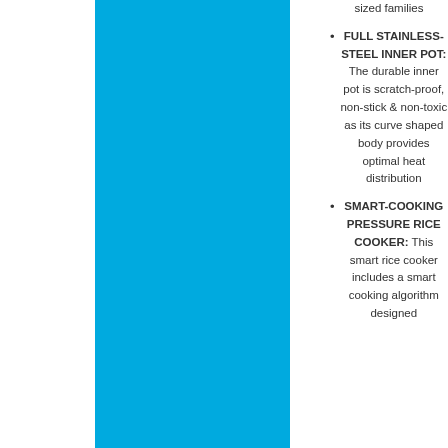sized families
FULL STAINLESS-STEEL INNER POT: The durable inner pot is scratch-proof, non-stick & non-toxic as its curve shaped body provides optimal heat distribution
SMART-COOKING PRESSURE RICE COOKER: This smart rice cooker includes a smart cooking algorithm designed